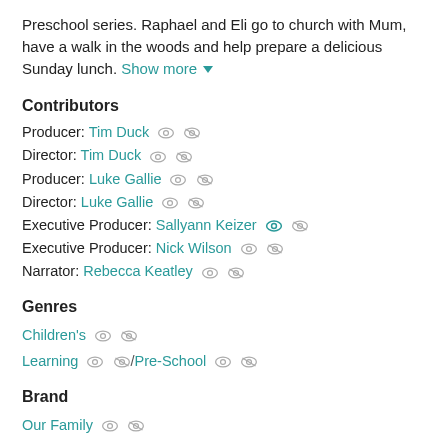Preschool series. Raphael and Eli go to church with Mum, have a walk in the woods and help prepare a delicious Sunday lunch. Show more ▼
Contributors
Producer: Tim Duck
Director: Tim Duck
Producer: Luke Gallie
Director: Luke Gallie
Executive Producer: Sallyann Keizer
Executive Producer: Nick Wilson
Narrator: Rebecca Keatley
Genres
Children's
Learning / Pre-School
Brand
Our Family